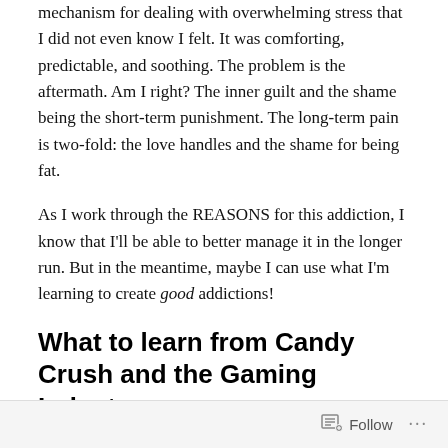mechanism for dealing with overwhelming stress that I did not even know I felt. It was comforting, predictable, and soothing. The problem is the aftermath. Am I right? The inner guilt and the shame being the short-term punishment. The long-term pain is two-fold: the love handles and the shame for being fat.
As I work through the REASONS for this addiction, I know that I'll be able to better manage it in the longer run. But in the meantime, maybe I can use what I'm learning to create good addictions!
What to learn from Candy Crush and the Gaming Industry
During stressful times, we turn to our coping mechanisms,
Follow ...